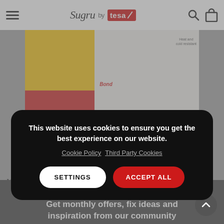Sugru by tesa
[Figure (photo): Sugru product packaging and lifestyle imagery showing yellow and red packages alongside household items on a shelf, with labels 'Bond', 'Create', 'Heat and cold resistant']
This website uses cookies to ensure you get the best experience on our website. Cookie Policy Third Party Cookies
SETTINGS   ACCEPT ALL
Get monthly offers, fix ideas and inspiration from our community